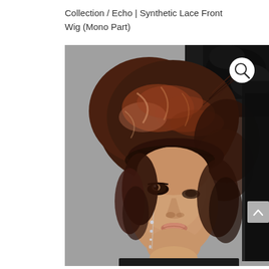Collection / Echo | Synthetic Lace Front Wig (Mono Part)
[Figure (photo): A model wearing a short, layered, reddish-brown synthetic wig with highlights. The model has dramatic eye makeup and dangling crystal earrings. Black lace fabric is visible in the upper right corner. A white circular search/zoom icon is overlaid in the upper right of the photo. A grey scroll-to-top arrow button is visible at the right edge.]